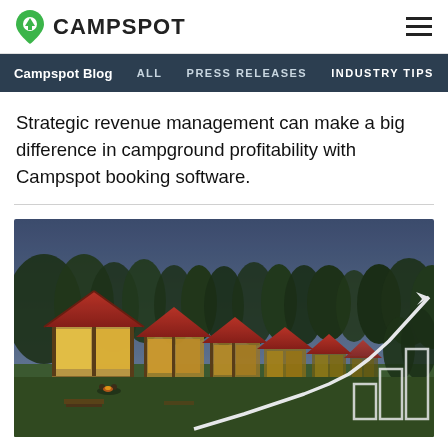CAMPSPOT
Campspot Blog | ALL | PRESS RELEASES | INDUSTRY TIPS
Strategic revenue management can make a big difference in campground profitability with Campspot booking software.
[Figure (photo): Row of illuminated cabins with red roofs at dusk/night, with a white line-chart arrow overlay on the lower right indicating upward growth trend.]